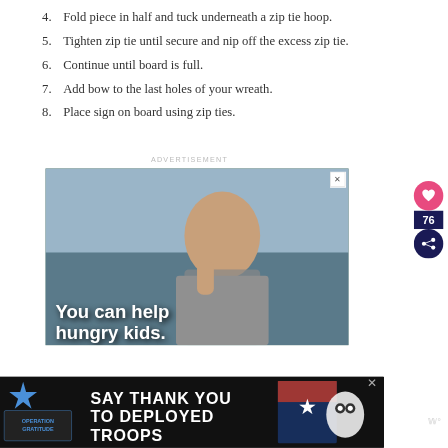4. Fold piece in half and tuck underneath a zip tie hoop.
5. Tighten zip tie until secure and nip off the excess zip tie.
6. Continue until board is full.
7. Add bow to the last holes of your wreath.
8. Place sign on board using zip ties.
ADVERTISEMENT
[Figure (photo): Advertisement photo of a young child with text overlay reading 'You can help hungry kids.']
[Figure (photo): Bottom banner advertisement for Operation Gratitude: 'SAY THANK YOU TO DEPLOYED TROOPS']